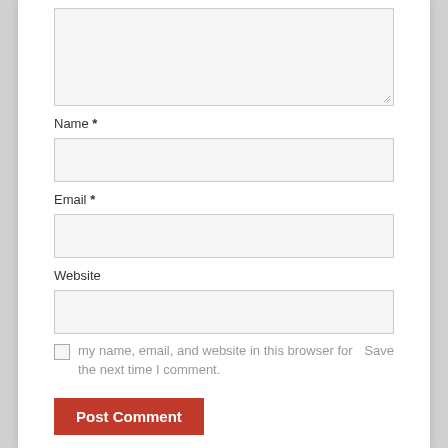[Figure (screenshot): Text area input box (comment field) with resize handle at bottom right]
Name *
[Figure (screenshot): Name input text field]
Email *
[Figure (screenshot): Email input text field]
Website
[Figure (screenshot): Website input text field]
Save my name, email, and website in this browser for the next time I comment.
[Figure (screenshot): Post Comment button (red)]
CATEGORIES
Checking Account